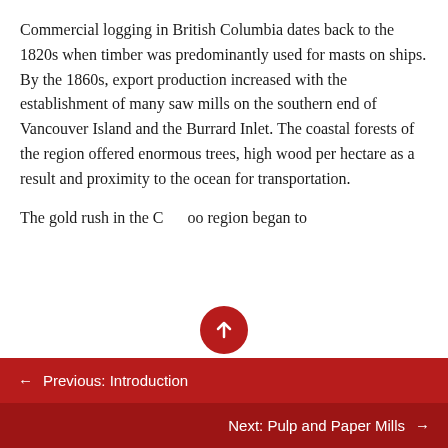Commercial logging in British Columbia dates back to the 1820s when timber was predominantly used for masts on ships. By the 1860s, export production increased with the establishment of many saw mills on the southern end of Vancouver Island and the Burrard Inlet. The coastal forests of the region offered enormous trees, high wood per hectare as a result and proximity to the ocean for transportation.
The gold rush in the Cariboo region began to
← Previous: Introduction
Next: Pulp and Paper Mills →